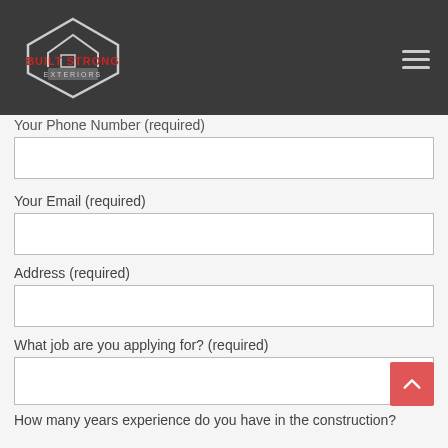[Figure (logo): Built Strong Exteriors logo with house/diamond shape in white and red text on dark background header]
Your Phone Number (required)
Your Email (required)
Address (required)
What job are you applying for? (required)
How many years experience do you have in the construction?